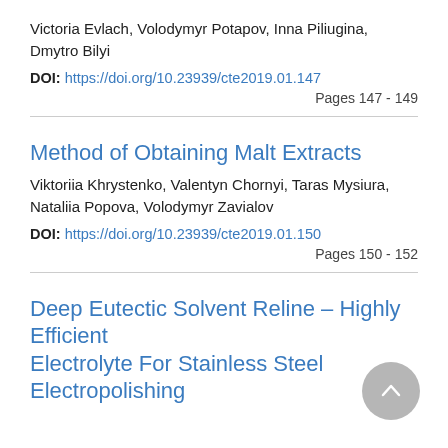Victoria Evlach, Volodymyr Potapov, Inna Piliugina, Dmytro Bilyi
DOI: https://doi.org/10.23939/cte2019.01.147
Pages 147 - 149
Method of Obtaining Malt Extracts
Viktoriia Khrystenko, Valentyn Chornyi, Taras Mysiura, Nataliia Popova, Volodymyr Zavialov
DOI: https://doi.org/10.23939/cte2019.01.150
Pages 150 - 152
Deep Eutectic Solvent Reline – Highly Efficient Electrolyte For Stainless Steel Electropolishing